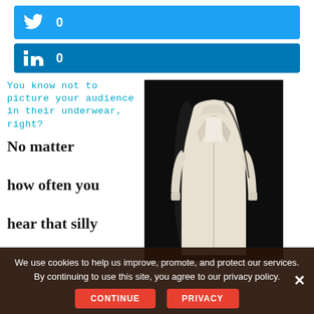[Figure (infographic): Twitter share button showing count of 0]
[Figure (infographic): LinkedIn share button showing count of 0]
You know not to picture your audience in their underwear, right?
No matter how often you hear that silly
[Figure (photo): Photo of a white coat/robe on a dark background, displayed on a headless mannequin]
We use cookies to help us improve, promote, and protect our services. By continuing to use this site, you agree to our privacy policy.
CONTINUE
PRIVACY